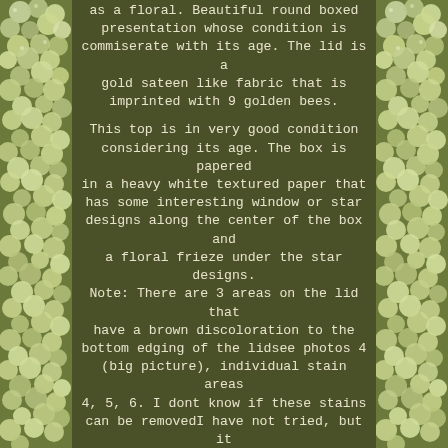[Figure (illustration): Left border of green/white berries or gooseberries on a vine, serving as decorative page border]
as a floral. Beautiful round boxed presentation whose condition is commiserate with its age. The lid is a gold sateen like fabric that is imprinted with 9 golden bees.

This top is in very good condition considering its age. The box is papered in a heavy white textured paper that has some interesting window or star designs along the center of the box and a floral frieze under the star designs. Note: There are 3 areas on the lid that have a brown discoloration to the bottom edging of the lidsee photos 4 (big picture), individual stain areas 4, 5, 6. I dont know if these stains can be removedI have not tried, but it is most likely an age or perfume stain I dont know.

The bottom base of the box that holds the powder portion is in very good condition. The underside of the box is a beautiful gold foil like paper that has a few scratches commiserate with its age that describes the product.
[Figure (illustration): Right border of green/white berries or gooseberries on a vine, serving as decorative page border]